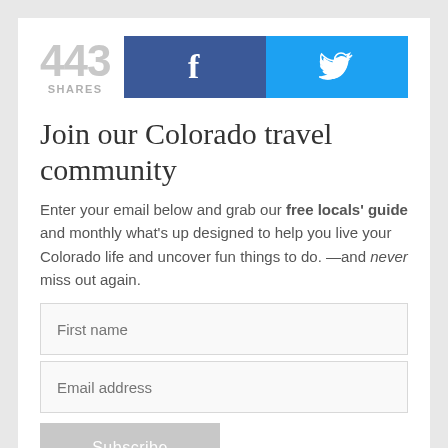[Figure (infographic): Share count showing 443 SHARES with Facebook and Twitter social share buttons]
Join our Colorado travel community
Enter your email below and grab our free locals' guide and monthly what's up designed to help you live your Colorado life and uncover fun things to do. —and never miss out again.
[Figure (screenshot): First name input field, Email address input field, and Subscribe button]